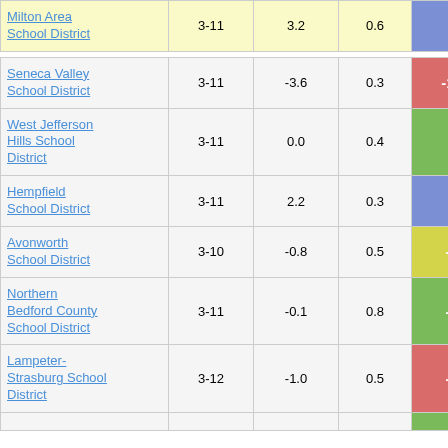| District | Grades | Avg Change | SD | Score |
| --- | --- | --- | --- | --- |
| Milton Area School District | 3-11 | 3.2 | 0.6 | 5.64 |
| Seneca Valley School District | 3-11 | -3.6 | 0.3 | -12.57 |
| West Jefferson Hills School District | 3-11 | 0.0 | 0.4 | 0.03 |
| Hempfield School District | 3-11 | 2.2 | 0.3 | 6.93 |
| Avonworth School District | 3-10 | -0.8 | 0.5 | -1.38 |
| Northern Bedford County School District | 3-11 | -0.1 | 0.8 | -0.10 |
| Lampeter-Strasburg School District | 3-12 | -1.0 | 0.5 | -2.24 |